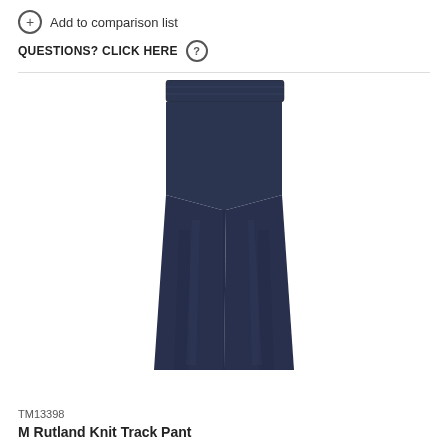+ Add to comparison list
QUESTIONS? CLICK HERE ?
[Figure (photo): Navy blue knit track pants laid flat on white background, showing elastic waistband and straight leg cut]
TM13398
M Rutland Knit Track Pant